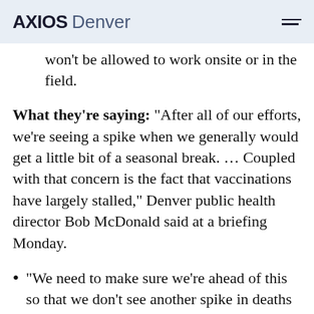AXIOS Denver
won't be allowed to work onsite or in the field.
What they're saying: "After all of our efforts, we're seeing a spike when we generally would get a little bit of a seasonal break. … Coupled with that concern is the fact that vaccinations have largely stalled," Denver public health director Bob McDonald said at a briefing Monday.
"We need to make sure we're ahead of this so that we don't see another spike in deaths going into the fall," he told reporters.
Context: While the risks...